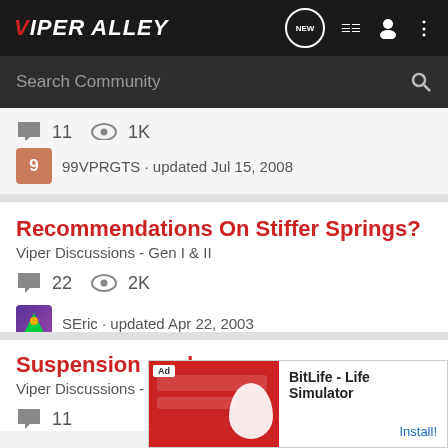ViperAlley
Search Community
11 comments · 1K views
99VPRGTS · updated Jul 15, 2008
Recommendations On Stiffer Springs?
Viper Discussions - Gen I & II
22 comments · 2K views
SEric · updated Apr 22, 2003
Suspension mods
Viper Discussions - Gen I & II
11
[Figure (screenshot): Advertisement for BitLife - Life Simulator app with red banner image and install button]